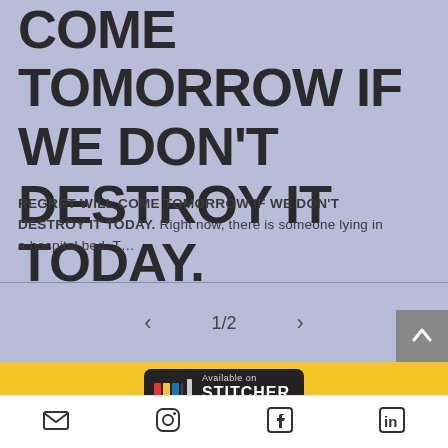COME TOMORROW IF WE DON'T DESTROY IT TODAY.
REGRET WILL COME TOMORROW IF WE DON'T DESTROY IT TODAY. Right now, there is someone lying in a hospital bed. T...
1/2
[Figure (logo): Available on STITCHER badge with colored bars and text on dark background]
[Figure (other): Social media icons: email, Instagram, Facebook, LinkedIn]